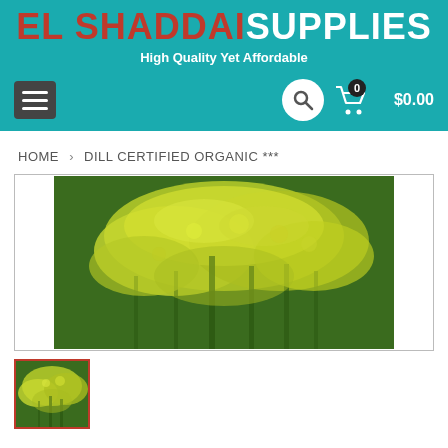EL SHADDAI SUPPLIES – High Quality Yet Affordable
HOME > DILL CERTIFIED ORGANIC ***
[Figure (photo): Large photo of dill plant with yellow-green flowers in bloom, filling most of the product image box]
[Figure (photo): Small thumbnail of the same dill plant photo, shown below the main image]